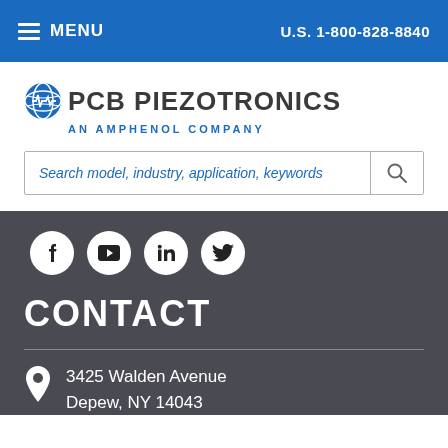MENU   U.S. 1-800-828-8840
[Figure (logo): PCB Piezotronics logo with globe icon and tagline AN AMPHENOL COMPANY]
Search model, industry, application, keywords
[Figure (infographic): Social media icons: Facebook, YouTube, LinkedIn, Twitter in white circles on dark background]
CONTACT
3425 Walden Avenue
Depew, NY 14043